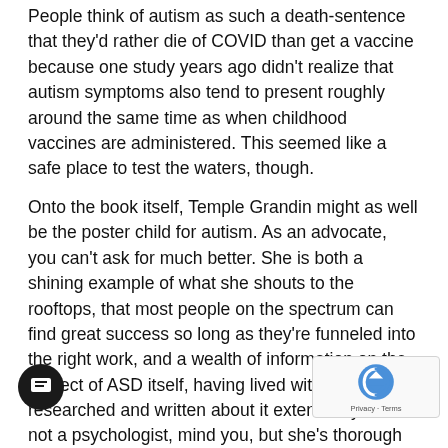People think of autism as such a death-sentence that they'd rather die of COVID than get a vaccine because one study years ago didn't realize that autism symptoms also tend to present roughly around the same time as when childhood vaccines are administered. This seemed like a safe place to test the waters, though.
Onto the book itself, Temple Grandin might as well be the poster child for autism. As an advocate, you can't ask for much better. She is both a shining example of what she shouts to the rooftops, that most people on the spectrum can find great success so long as they're funneled into the right work, and a wealth of information on the subject of ASD itself, having lived with it as well as researched and written about it extensively. She's not a psychologist, mind you, but she's thorough enough in all of her pursuits that I don't think you necessarily need to hold that against her. Plus, as she details in this book, even the field of psychology didn't know what in the hell they were